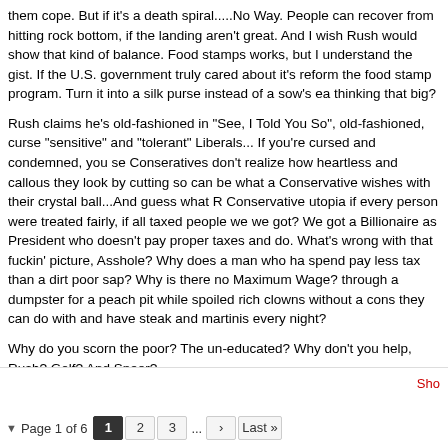them cope. But if it's a death spiral.....No Way. People can recover from hitting rock bottom, if the landing isn't great. And I wish Rush would show that kind of balance. Food stamps aren't perfect, I know it works, but I understand the gist. If the U.S. government truly cared about it's people, they would reform the food stamp program. Turn it into a silk purse instead of a sow's ear. Is anyone thinking that big?
Rush claims he's old-fashioned in "See, I Told You So", old-fashioned, cursed and condemned by "sensitive" and "tolerant" Liberals... If you're cursed and condemned, you see, you're old-fashioned. Conseratives don't realize how heartless and callous they look by cutting social programs. The future can be what a Conservative wishes with their crystal ball...And guess what Rush? We'd be in a Conservative utopia if every person were treated fairly, if all taxed people were treated fairly. What have we got? We got a Billionaire as President who doesn't pay proper taxes and wants us little people to do. What's wrong with that fuckin' picture, Asshole? Why does a man who has more money than he can spend pay less tax than a dirt poor sap? Why is there no Maximum Wage? Kids are picking through a dumpster for a peach pit while spoiled rich clowns without a conscience buy everything they can do with and have steak and martinis every night?
Why do you scorn the poor? The un-educated? Why don't you help, Rush? Why do you only play Golf? And Sneer?
Your Floridian Birthright?
Well I hope you enter the town of your birth tomorrow.
I want to be Ready.
Show  Page 1 of 6  1  2  3  ...  >  Last »